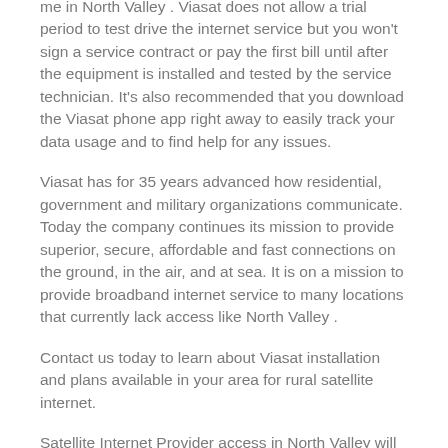me in North Valley . Viasat does not allow a trial period to test drive the internet service but you won't sign a service contract or pay the first bill until after the equipment is installed and tested by the service technician. It's also recommended that you download the Viasat phone app right away to easily track your data usage and to find help for any issues.
Viasat has for 35 years advanced how residential, government and military organizations communicate. Today the company continues its mission to provide superior, secure, affordable and fast connections on the ground, in the air, and at sea. It is on a mission to provide broadband internet service to many locations that currently lack access like North Valley .
Contact us today to learn about Viasat installation and plans available in your area for rural satellite internet.
Satellite Internet Provider access in North Valley will